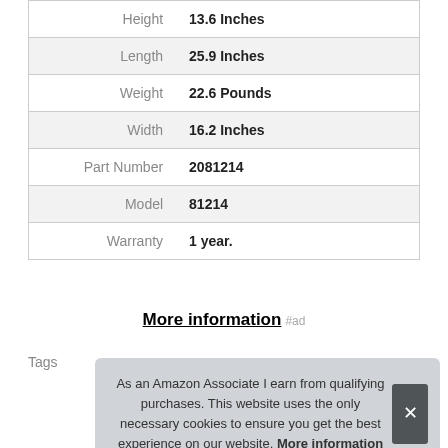| Attribute | Value |
| --- | --- |
| Height | 13.6 Inches |
| Length | 25.9 Inches |
| Weight | 22.6 Pounds |
| Width | 16.2 Inches |
| Part Number | 2081214 |
| Model | 81214 |
| Warranty | 1 year. |
More information #ad
As an Amazon Associate I earn from qualifying purchases. This website uses the only necessary cookies to ensure you get the best experience on our website. More information
Tags